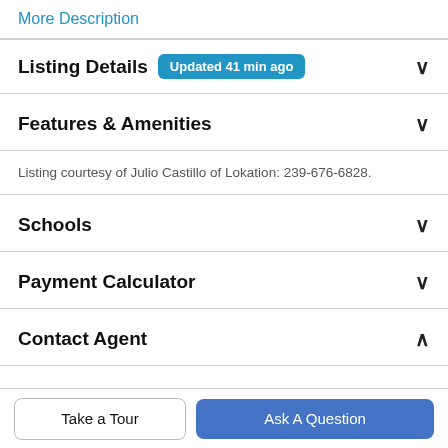More Description
Listing Details  Updated 41 min ago
Features & Amenities
Listing courtesy of Julio Castillo of Lokation: 239-676-6828.
Schools
Payment Calculator
Contact Agent
Take a Tour
Ask A Question